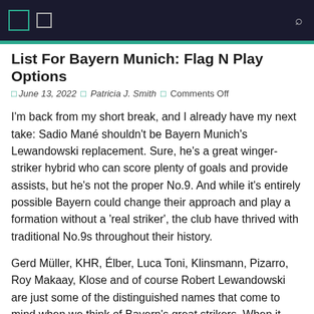□ □ fl
List For Bayern Munich: Flag N Play Options
□ June 13, 2022 □ Patricia J. Smith □ Comments Off
I'm back from my short break, and I already have my next take: Sadio Mané shouldn't be Bayern Munich's Lewandowski replacement. Sure, he's a great winger-striker hybrid who can score plenty of goals and provide assists, but he's not the proper No.9. And while it's entirely possible Bayern could change their approach and play a formation without a 'real striker', the club have thrived with traditional No.9s throughout their history.
Gerd Müller, KHR, Élber, Luca Toni, Klinsmann, Pizarro, Roy Makaay, Klose and of course Robert Lewandowski are just some of the distinguished names that come to mind when we think of Bayern's great strikers. When it ain't broke, you don't fix it, and the same applies here. Bayern just need